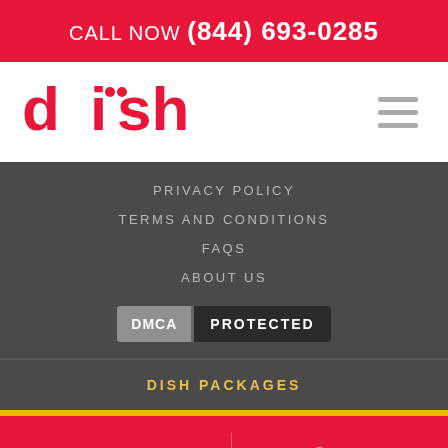CALL NOW (844) 693-0285
[Figure (logo): DISH Network logo in red]
PRIVACY POLICY
TERMS AND CONDITIONS
FAQS
ABOUT US
[Figure (logo): DMCA PROTECTED badge]
DISH PACKAGES
Order Online
Call Now